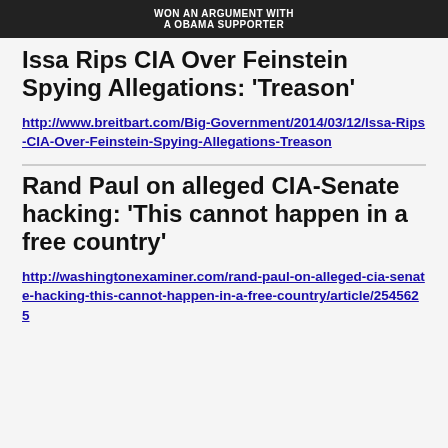[Figure (photo): Dark banner/image at top with text 'WON AN ARGUMENT WITH A OBAMA SUPPORTER']
Issa Rips CIA Over Feinstein Spying Allegations: 'Treason'
http://www.breitbart.com/Big-Government/2014/03/12/Issa-Rips-CIA-Over-Feinstein-Spying-Allegations-Treason
Rand Paul on alleged CIA-Senate hacking: 'This cannot happen in a free country'
http://washingtonexaminer.com/rand-paul-on-alleged-cia-senate-hacking-this-cannot-happen-in-a-free-country/article/2545625